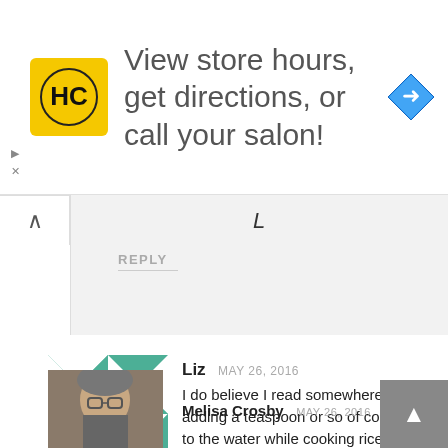[Figure (screenshot): Advertisement banner with HC logo, text 'View store hours, get directions, or call your salon!' and a blue navigation arrow icon]
L
REPLY
Liz  MAY 26, 2016
I do believe I read somewhere that adding a teaspoon or so of coconut oil to the water while cooking rice changes the starch.
REPLY
Melisa Crosby  MAY 26, 2016